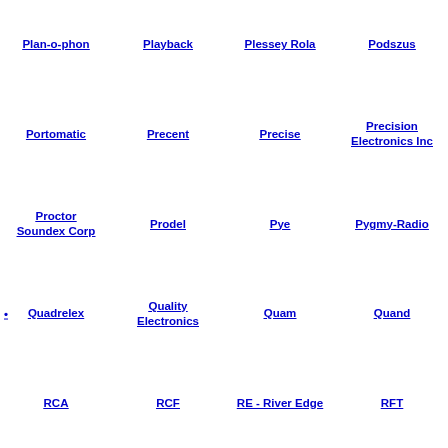Plan-o-phon
Playback
Plessey Rola
Podszus
Portomatic
Precent
Precise
Precision Electronics Inc
Proctor Soundex Corp
Prodel
Pye
Pygmy-Radio
Quadrelex
Quality Electronics
Quam
Quand
RCA
RCF
RE - River Edge
RFT